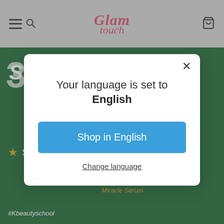Glam Touch
[Figure (screenshot): E-commerce website screenshot showing Glam Touch header with hamburger menu, search icon, logo, and cart icon on grey background. Behind a modal is a green background promotional image showing '3 Serum' text, skin soothing text, and Some by Mi AHA.BHA.PHA 30 Days Miracle Serum product.]
Your language is set to English
Shop in English
Change language